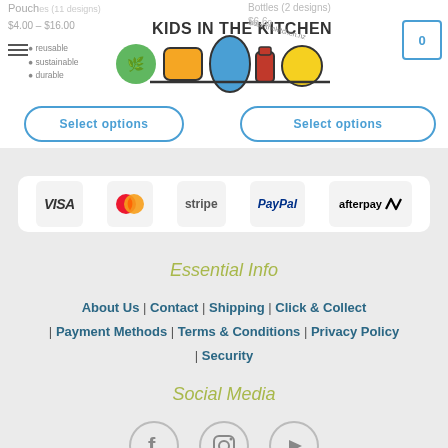Kids in the Kitchen - reusable, sustainable, durable
Select options | Select options
[Figure (logo): Payment method logos: VISA, MasterCard, Stripe, PayPal, Afterpay]
Essential Info
About Us | Contact | Shipping | Click & Collect | Payment Methods | Terms & Conditions | Privacy Policy | Security
Social Media
[Figure (other): Social media icons: Facebook, Instagram, YouTube]